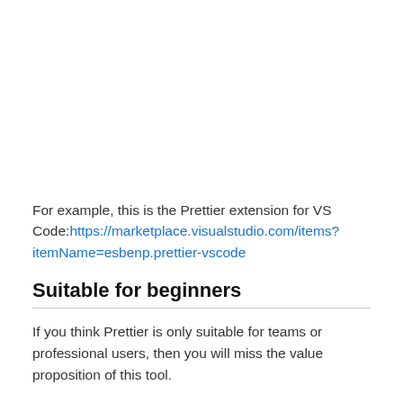For example, this is the Prettier extension for VS Code:https://marketplace.visualstudio.com/items?itemName=esbenp.prettier-vscode
Suitable for beginners
If you think Prettier is only suitable for teams or professional users, then you will miss the value proposition of this tool.